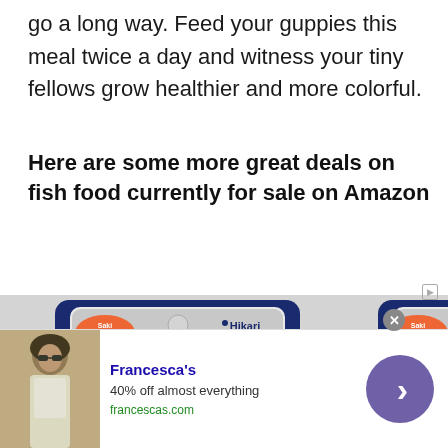go a long way. Feed your guppies this meal twice a day and witness your tiny fellows grow healthier and more colorful.
Here are some more great deals on fish food currently for sale on Amazon
[Figure (photo): Three Hikari Fancy Guppy fish food packages displayed side by side]
[Figure (photo): Advertisement for Francesca's: 40% off almost everything. Shows woman in white dress. francescas.com]